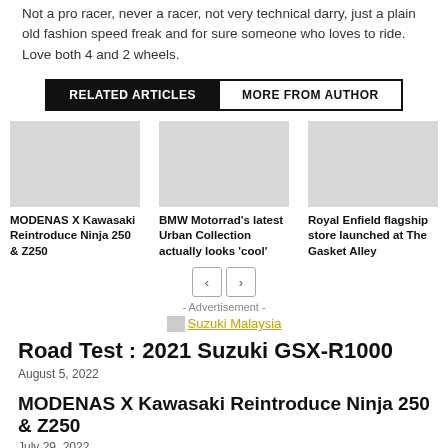Not a pro racer, never a racer, not very technical darry, just a plain old fashion speed freak and for sure someone who loves to ride. Love both 4 and 2 wheels.
RELATED ARTICLES | MORE FROM AUTHOR
[Figure (photo): Three article card images (placeholders) for motorcycle articles]
MODENAS X Kawasaki Reintroduce Ninja 250 & Z250
BMW Motorrad's latest Urban Collection actually looks 'cool'
Royal Enfield flagship store launched at The Gasket Alley
- Advertisement -
[Figure (photo): Suzuki Malaysia advertisement image with broken image icon and yellow text link]
Road Test : 2021 Suzuki GSX-R1000
August 5, 2022
MODENAS X Kawasaki Reintroduce Ninja 250 & Z250
July 29, 2022